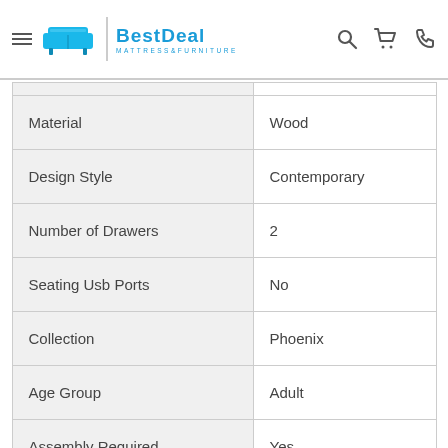BestDeal Mattress & Furniture
| Property | Value |
| --- | --- |
| Material | Wood |
| Design Style | Contemporary |
| Number of Drawers | 2 |
| Seating Usb Ports | No |
| Collection | Phoenix |
| Age Group | Adult |
| Assembly Required | Yes |